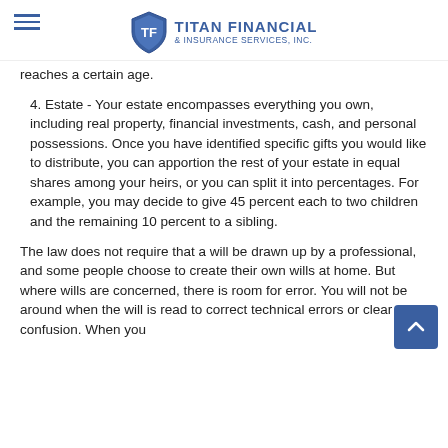TITAN FINANCIAL & INSURANCE SERVICES, INC.
reaches a certain age.
4. Estate - Your estate encompasses everything you own, including real property, financial investments, cash, and personal possessions. Once you have identified specific gifts you would like to distribute, you can apportion the rest of your estate in equal shares among your heirs, or you can split it into percentages. For example, you may decide to give 45 percent each to two children and the remaining 10 percent to a sibling.
The law does not require that a will be drawn up by a professional, and some people choose to create their own wills at home. But where wills are concerned, there is room for error. You will not be around when the will is read to correct technical errors or clear up confusion. When you